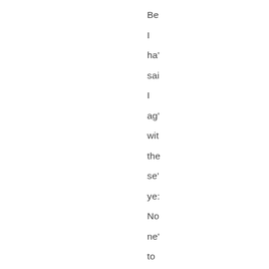Be I ha' sai I ag' wit the se' ye: No ne' to he: tha the is